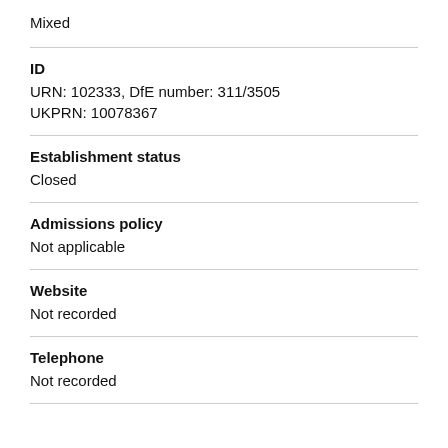Mixed
ID
URN: 102333, DfE number: 311/3505
UKPRN: 10078367
Establishment status
Closed
Admissions policy
Not applicable
Website
Not recorded
Telephone
Not recorded